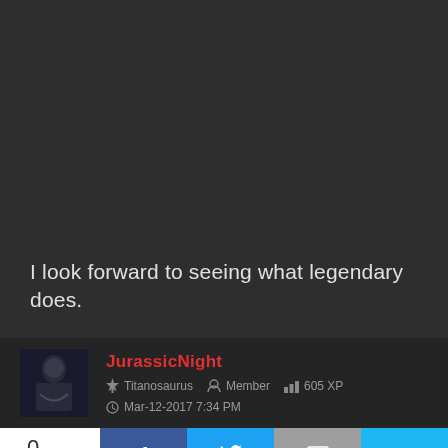I look forward to seeing what legendary does.
JurassicNight
Titanosaurus   Member   605 XP
Mar-12-2017 7:34 PM
0 SHARES